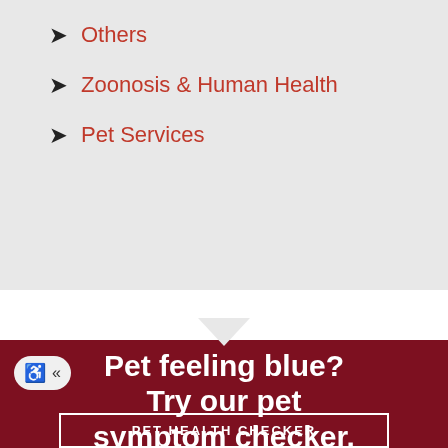Others
Zoonosis & Human Health
Pet Services
Pet feeling blue? Try our pet symptom checker.
PET HEALTH CHECKER